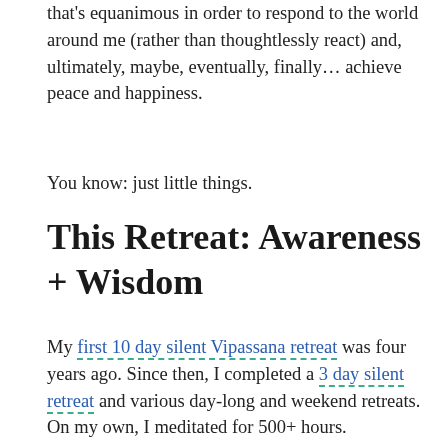that's equanimous in order to respond to the world around me (rather than thoughtlessly react) and, ultimately, maybe, eventually, finally… achieve peace and happiness.
You know: just little things.
This Retreat: Awareness + Wisdom
My first 10 day silent Vipassana retreat was four years ago. Since then, I completed a 3 day silent retreat and various day-long and weekend retreats. On my own, I meditated for 500+ hours.